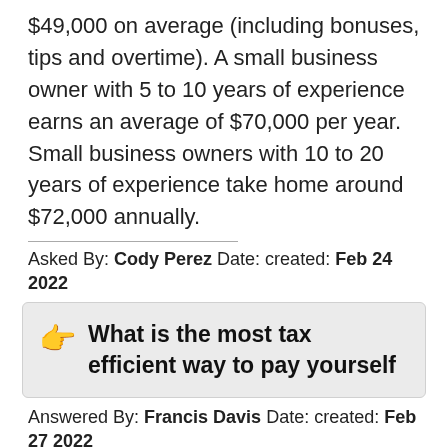$49,000 on average (including bonuses, tips and overtime). A small business owner with 5 to 10 years of experience earns an average of $70,000 per year. Small business owners with 10 to 20 years of experience take home around $72,000 annually.
Asked By: Cody Perez Date: created: Feb 24 2022
What is the most tax efficient way to pay yourself
Answered By: Francis Davis Date: created: Feb 27 2022
What is the most tax efficient way to pay myself?Step 1 – Salary. Multiple directors or companies with more than